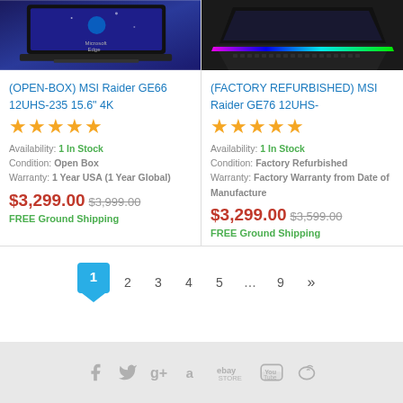[Figure (photo): MSI Raider GE66 laptop product image on dark blue background]
[Figure (photo): MSI Raider GE76 laptop product image on dark background with RGB lighting]
(OPEN-BOX) MSI Raider GE66 12UHS-235 15.6" 4K
(FACTORY REFURBISHED) MSI Raider GE76 12UHS-
★★★★★
★★★★★
Availability: 1 In Stock
Condition: Open Box
Warranty: 1 Year USA (1 Year Global)
Availability: 1 In Stock
Condition: Factory Refurbished
Warranty: Factory Warranty from Date of Manufacture
$3,299.00 $3,999.00
FREE Ground Shipping
$3,299.00 $3,599.00
FREE Ground Shipping
1  2  3  4  5  ...  9  »